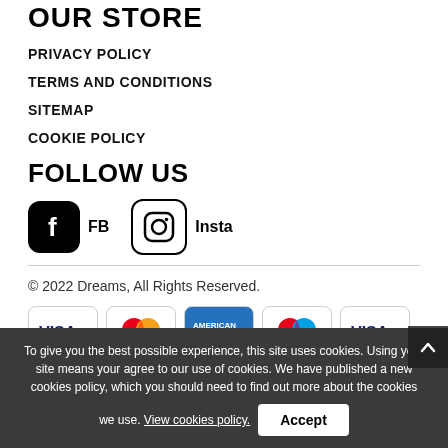OUR STORE
PRIVACY POLICY
TERMS AND CONDITIONS
SITEMAP
COOKIE POLICY
FOLLOW US
[Figure (illustration): Facebook and Instagram social media icons with labels FB and Insta]
[Figure (illustration): Payment method logos: VISA, Mastercard, American Express, Mastercard (variant), VISA (variant)]
© 2022 Dreams, All Rights Reserved.
To give you the best possible experience, this site uses cookies. Using your site means your agree to our use of cookies. We have published a new cookies policy, which you should need to find out more about the cookies we use. View cookies policy.